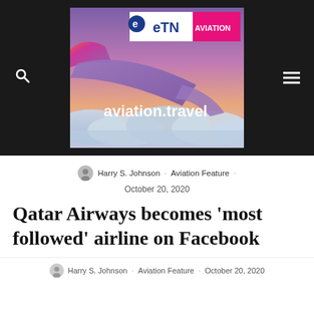[Figure (screenshot): eTN Aviation website banner showing airplane wing above clouds with text 'aviation.travel', eTN logo, and AVIATION label on magenta background. Dark sidebar with search and menu icons.]
Harry S. Johnson · Aviation Feature · October 20, 2020
Qatar Airways becomes 'most followed' airline on Facebook
Harry S. Johnson · Aviation Feature · October 20, 2020